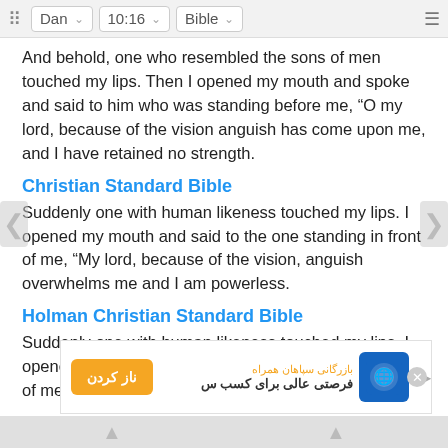Dan  10:16  Bible
And behold, one who resembled the sons of men touched my lips. Then I opened my mouth and spoke and said to him who was standing before me, “O my lord, because of the vision anguish has come upon me, and I have retained no strength.
Christian Standard Bible
Suddenly one with human likeness touched my lips. I opened my mouth and said to the one standing in front of me, “My lord, because of the vision, anguish overwhelms me and I am powerless.
Holman Christian Standard Bible
Suddenly one with human likeness touched my lips. I opened my mouth and said to the one standing in front of me. “My lord, because of the vision, anguish overw...
Ame...